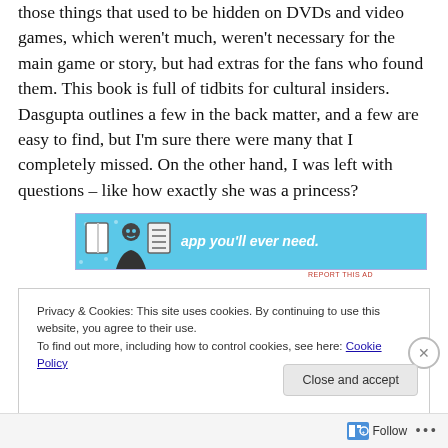those things that used to be hidden on DVDs and video games, which weren't much, weren't necessary for the main game or story, but had extras for the fans who found them. This book is full of tidbits for cultural insiders. Dasgupta outlines a few in the back matter, and a few are easy to find, but I'm sure there were many that I completely missed. On the other hand, I was left with questions – like how exactly she was a princess?
[Figure (other): Advertisement banner with light blue background showing book/reading app icons and text 'app you'll ever need.']
REPORT THIS AD
Privacy & Cookies: This site uses cookies. By continuing to use this website, you agree to their use.
To find out more, including how to control cookies, see here: Cookie Policy
Close and accept
Follow ...